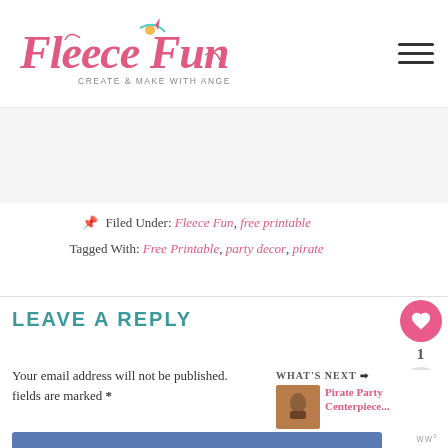Fleece Fun — Create & Make with Angel Peterson
Filed Under: Fleece Fun, free printable
Tagged With: Free Printable, party decor, pirate
LEAVE A REPLY
Your email address will not be published. fields are marked *